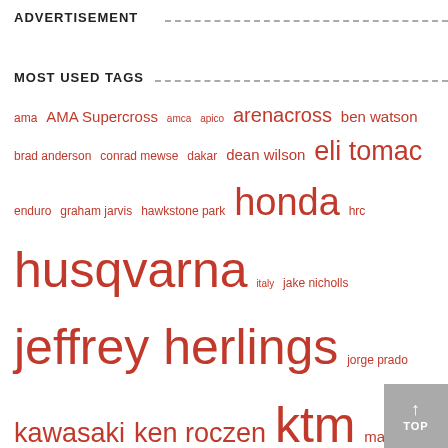ADVERTISEMENT
MOST USED TAGS
ama AMA Supercross amca apico arenacross ben watson brad anderson conrad mewse dakar dean wilson eli tomac enduro graham jarvis hawkstone park honda hrc husqvarna italy jake nicholls jeffrey herlings jorge prado kawasaki ken roczen ktm marvin musquin max anstie maxxis british championship maxxis british motocross championship motocross of nations mxgp MX Nationals mxon nathan watson pauls jonass romain febvre ryan dungey sam sunderland shaun simpson supercross suzuki tim gajser tommy searle tony cairoli two-stroke yamaha